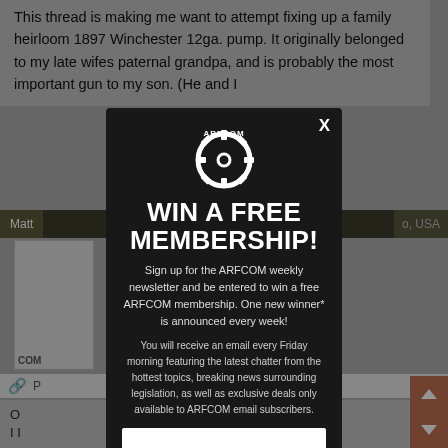This thread is making me want to attempt fixing up a family heirloom 1897 Winchester 12ga. pump. It originally belonged to my late wifes paternal grandpa, and is probably the most important gun to my son. (He and I
[Figure (screenshot): ARFCOM website background showing forum post thread with user bar, avatar area, and partial comment text]
WIN A FREE MEMBERSHIP!
Sign up for the ARFCOM weekly newsletter and be entered to win a free ARFCOM membership. One new winner* is announced every week!
You will receive an email every Friday morning featuring the latest chatter from the hottest topics, breaking news surrounding legislation, as well as exclusive deals only available to ARFCOM email subscribers.